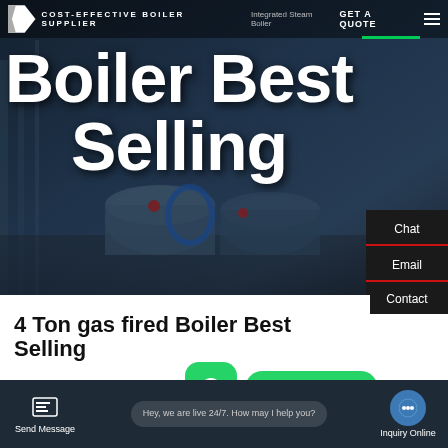[Figure (screenshot): Boiler manufacturer website hero section with industrial boiler machinery background, dark blue overlay]
COST-EFFECTIVE BOILER SUPPLIER | Integrated Steam Boiler | GET A QUOTE
Boiler Best Selling
4 Ton gas fired Boiler Best Selling
Contact us now!
HOT NEWS
Send Message | Hey, we are live 24/7. How may I help you? | Inquiry Online